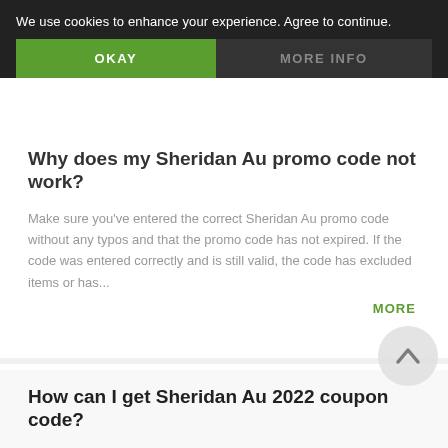We use cookies to enhance your experience. Agree to continue.
OKAY
MORE INFO
Why does my Sheridan Au promo code not work?
Make sure you've entered the correct Sheridan Au promo code without any typos and that the promo code has not expired. If the code was entered correctly and is still valid, the code has excluded items or has...
MORE
How can I get Sheridan Au 2022 coupon code?
The best way to find coupon code is by using search engine such as Google, Bing and typing in 'Sheridan Au promo code'. Then you will find a list of websites that offer coupon codes. As well, you can typing 'Sheridan Au' i...
MORE